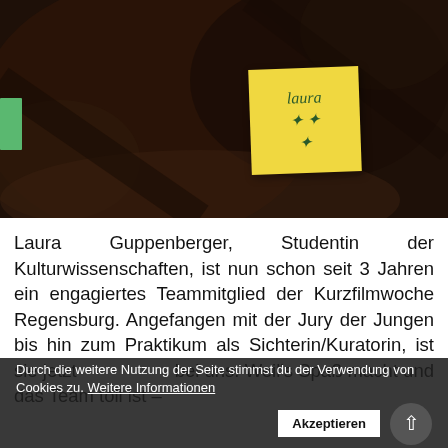[Figure (photo): Close-up photo of a dark jacket/clothing with a yellow sticky note attached, on which 'Laura' is written in green handwriting. A green tab is visible on the left edge.]
Laura Guppenberger, Studentin der Kulturwissenschaften, ist nun schon seit 3 Jahren ein engagiertes Teammitglied der Kurzfilmwoche Regensburg. Angefangen mit der Jury der Jungen bis hin zum Praktikum als Sichterin/Kuratorin, ist sie jetzt bei uns. Weil's Spaß macht und das Team toll ist –
Durch die weitere Nutzung der Seite stimmst du der Verwendung von Cookies zu. Weitere Informationen [Akzeptieren]